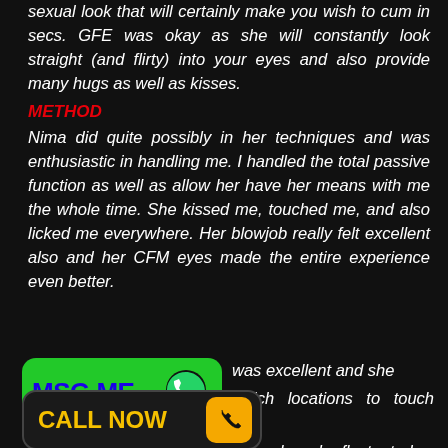sexual look that will certainly make you wish to cum in secs. GFE was okay as she will constantly look straight (and flirty) into your eyes and also provide many hugs as well as kisses.
METHOD
Nima did quite possibly in her techniques and was enthusiastic in handling me. I handled the total passive function as well as allow her have her means with me the whole time. She kissed me, touched me, and also licked me everywhere. Her blowjob really felt excellent also and her CFM eyes made the entire experience even better.
[Figure (infographic): Green MSG ME button with WhatsApp logo]
[Figure (infographic): Black CALL NOW button with yellow phone icon]
was excellent and she which locations to touch and around as she fluctuated. ood too and I assume she is